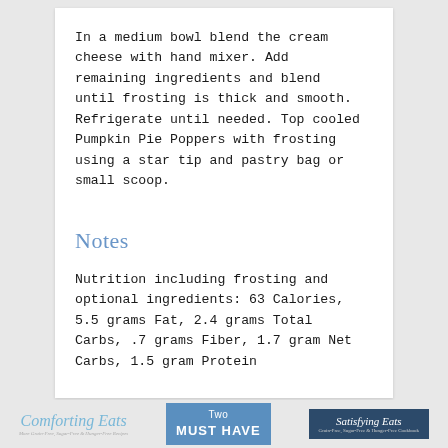In a medium bowl blend the cream cheese with hand mixer. Add remaining ingredients and blend until frosting is thick and smooth. Refrigerate until needed. Top cooled Pumpkin Pie Poppers with frosting using a star tip and pastry bag or small scoop.
Notes
Nutrition including frosting and optional ingredients: 63 Calories, 5.5 grams Fat, 2.4 grams Total Carbs, .7 grams Fiber, 1.7 gram Net Carbs, 1.5 gram Protein
Comforting Eats  |  Two MUST HAVE  |  Satisfying Eats